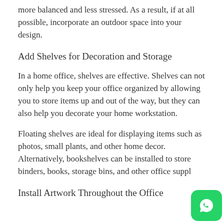more balanced and less stressed. As a result, if at all possible, incorporate an outdoor space into your design.
Add Shelves for Decoration and Storage
In a home office, shelves are effective. Shelves can not only help you keep your office organized by allowing you to store items up and out of the way, but they can also help you decorate your home workstation.
Floating shelves are ideal for displaying items such as photos, small plants, and other home decor. Alternatively, bookshelves can be installed to store binders, books, storage bins, and other office suppl
Install Artwork Throughout the Office